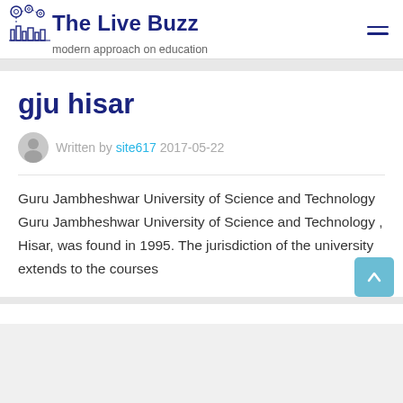The Live Buzz — modern approach on education
gju hisar
Written by site617  2017-05-22
Guru Jambheshwar University of Science and Technology Guru Jambheshwar University of Science and Technology , Hisar, was found in 1995. The jurisdiction of the university extends to the courses